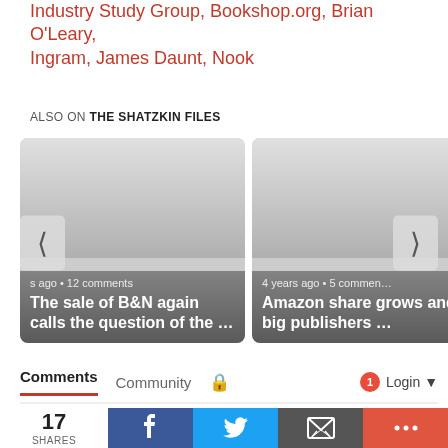Industry Study Group, Bookshop.org, Brian O'Leary, Ingram, James Daunt, Nook
ALSO ON THE SHATZKIN FILES
[Figure (screenshot): Carousel of two article cards. Left card: '... ago • 12 comments' / 'The sale of B&N again calls the question of the …'. Right card: '4 years ago • 5 comments' / 'Amazon share grows and big publishers …'. Navigation arrows on left and right.]
Comments  Community  🔒  1  Login
17 SHARES  [Facebook] [Twitter] [Email] [More]